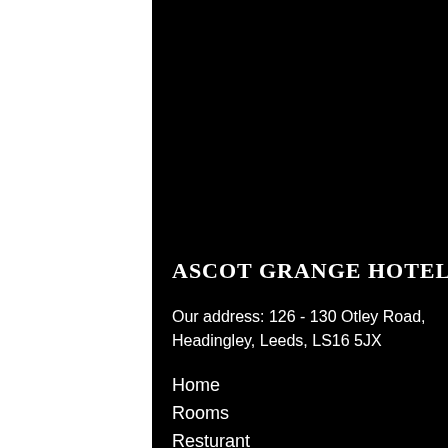[Figure (screenshot): Screenshot of Ascot Grange Hotel website on a black background mobile layout]
ASCOT GRANGE HOTEL
Our address: 126 - 130 Otley Road, Headingley, Leeds, LS16 5JX
Home
Rooms
Resturant
Your stay